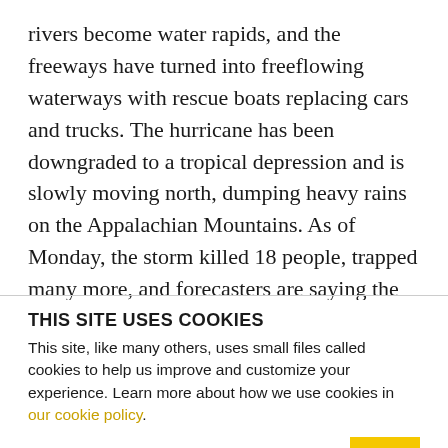rivers become water rapids, and the freeways have turned into freeflowing waterways with rescue boats replacing cars and trucks. The hurricane has been downgraded to a tropical depression and is slowly moving north, dumping heavy rains on the Appalachian Mountains. As of Monday, the storm killed 18 people, trapped many more, and forecasters are saying the worst flooding is yet to come. The storm is expected to move through Ohio Valley, West Virginia, Western Pennsylvania, with even New York and Boston getting extra rain.
THIS SITE USES COOKIES
This site, like many others, uses small files called cookies to help us improve and customize your experience. Learn more about how we use cookies in our cookie policy.
Learn more about cookies   OK